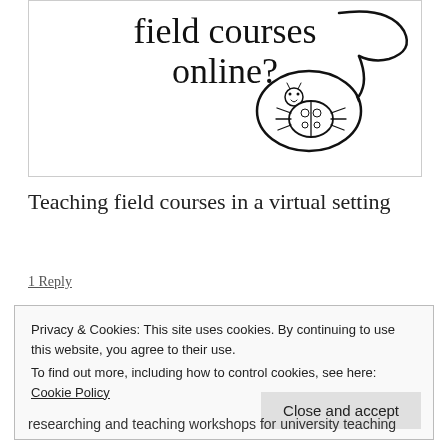[Figure (illustration): A framed card showing large text 'field courses online?' and a hand-drawn illustration of a ladybug on a magnifying glass or spoon, with a looped handle.]
Teaching field courses in a virtual setting
1 Reply
Privacy & Cookies: This site uses cookies. By continuing to use this website, you agree to their use.
To find out more, including how to control cookies, see here: Cookie Policy
researching and teaching workshops for university teaching